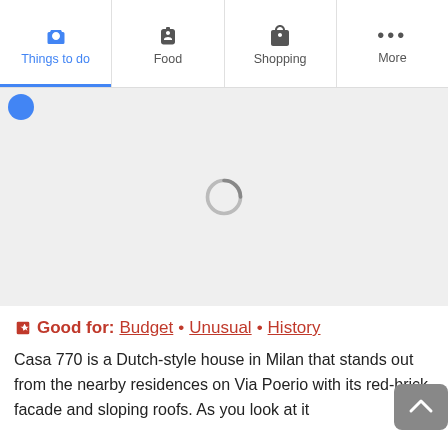Things to do | Food | Shopping | More
[Figure (screenshot): Loading spinner / placeholder area with a grey background and a circular loading indicator in the center, and a blue circle partially visible at top left]
Good for: Budget • Unusual • History
Casa 770 is a Dutch-style house in Milan that stands out from the nearby residences on Via Poerio with its red-brick facade and sloping roofs. As you look at it